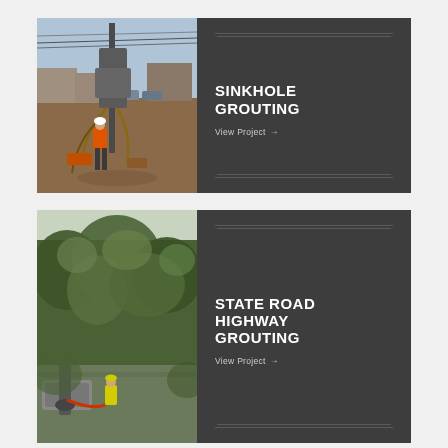[Figure (photo): Drilling rig with worker in orange safety vest at a construction/grouting site, cars and buildings visible in background]
SINKHOLE GROUTING
View Project →
[Figure (photo): Worker in yellow safety vest at a vegetated/wooded site with heavy equipment, state road highway grouting project]
STATE ROAD HIGHWAY GROUTING
View Project →